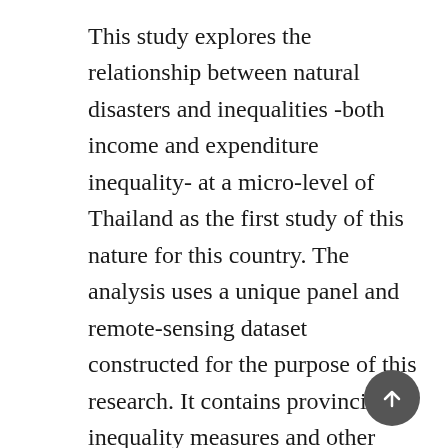This study explores the relationship between natural disasters and inequalities -both income and expenditure inequality- at a micro-level of Thailand as the first study of this nature for this country. The analysis uses a unique panel and remote-sensing dataset constructed for the purpose of this research. It contains provincial inequality measures and other economic and social indicators based on the Thailand Household Survey during the period between 1992 and 2019. Meanwhile, the data on natural disasters, which are remote-sensing data, are received from several official geophysical or meteorological databases. Employing a panel fixed effects, the results show that natural disasters significantly reduce household income and expenditure inequality as measured by the Gini index, implying that rich people in Thailand bear a higher cost of natural disasters when